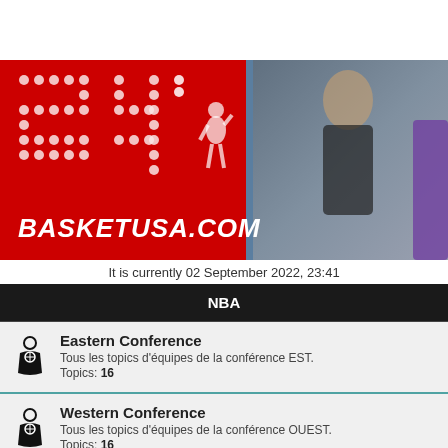[Figure (photo): BasketUSA.com website banner showing large dot-matrix '24' number on red background, a woman in black dress leaning on fence, and a basketball player in purple jersey on the right side]
It is currently 02 September 2022, 23:41
NBA
Eastern Conference
Tous les topics d'équipes de la conférence EST.
Topics: 16
Western Conference
Tous les topics d'équipes de la conférence OUEST.
Topics: 16
Playoffs & Play-in 2021
Topics: 30